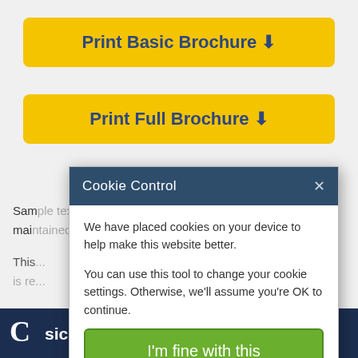[Figure (screenshot): Yellow button labeled 'Print Basic Brochure' with download icon]
[Figure (screenshot): Yellow button labeled 'Print Full Brochure' with download icon]
Sam... full service history and main...
This... guests in 4 cabins and is re...
Rea...
Sp...
[Figure (screenshot): Cookie Control modal dialog with header 'Cookie Control', body text about cookies, green 'I'm fine with this' button, and links for Information and Settings and About our cookies]
C ...sic Boat Info